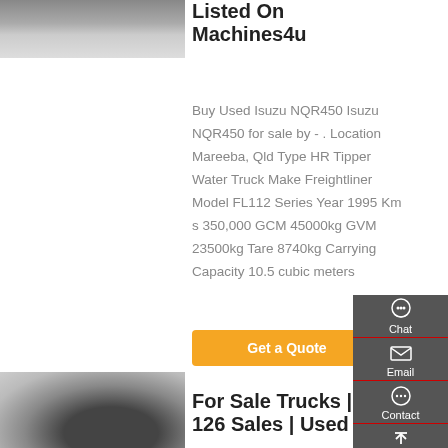[Figure (photo): Partial view of a truck chassis/undercarriage, top listing]
Listed On Machines4u
Buy Used Isuzu NQR450 Isuzu NQR450 for sale by - . Location Mareeba, Qld Type HR Tipper Water Truck Make Freightliner Model FL112 Series Year 1995 Km s 350,000 GCM 45000kg GVM 23500kg Tare 8740kg Carrying Capacity 10.5 cubic meters
Get a Quote
[Figure (photo): Partial view of truck wheels/axle, bottom listing]
For Sale Trucks | 126 Sales | Used
Chat
Email
Contact
Top